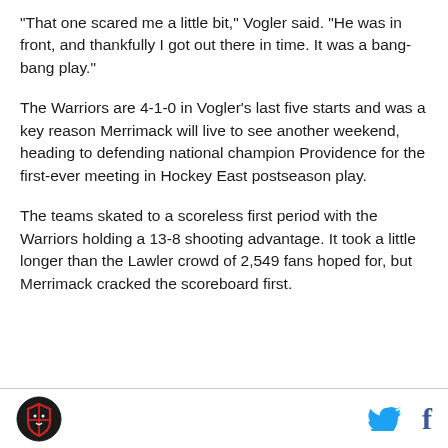"That one scared me a little bit," Vogler said. "He was in front, and thankfully I got out there in time. It was a bang-bang play."
The Warriors are 4-1-0 in Vogler's last five starts and was a key reason Merrimack will live to see another weekend, heading to defending national champion Providence for the first-ever meeting in Hockey East postseason play.
The teams skated to a scoreless first period with the Warriors holding a 13-8 shooting advantage. It took a little longer than the Lawler crowd of 2,549 fans hoped for, but Merrimack cracked the scoreboard first.
Logo | Twitter | Facebook